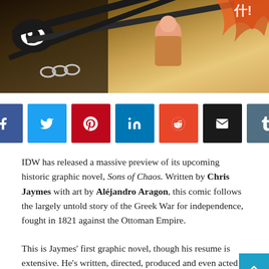[Figure (illustration): Comic book artwork showing battle scene with swords, chains, and figures in a sepia/brown toned style]
[Figure (infographic): Row of social media share buttons: Facebook (blue), Twitter (cyan), Pinterest (red), LinkedIn (dark blue), Reddit (orange), Email (black), Tumblr (steel blue)]
IDW has released a massive preview of its upcoming historic graphic novel, Sons of Chaos. Written by Chris Jaymes with art by Aléjandro Aragon, this comic follows the largely untold story of the Greek War for independence, fought in 1821 against the Ottoman Empire.
This is Jaymes' first graphic novel, though his resume is extensive. He's written, directed, produced and even acted